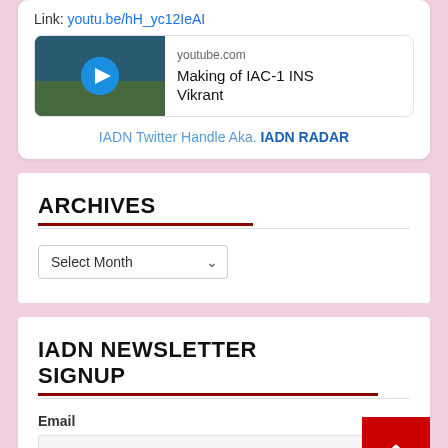Link: youtu.be/hH_yc12IeAI
[Figure (screenshot): YouTube video preview thumbnail showing Making of IAC-1 INS Vikrant with play button, youtube.com label]
IADN Twitter Handle Aka. IADN RADAR
ARCHIVES
Select Month
IADN NEWSLETTER SIGNUP
Email